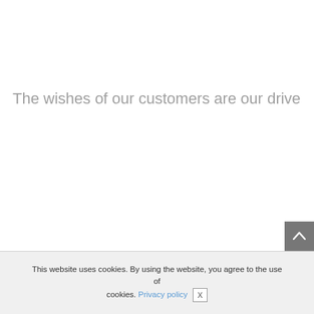The wishes of our customers are our drive
This website uses cookies. By using the website, you agree to the use of cookies. Privacy policy X